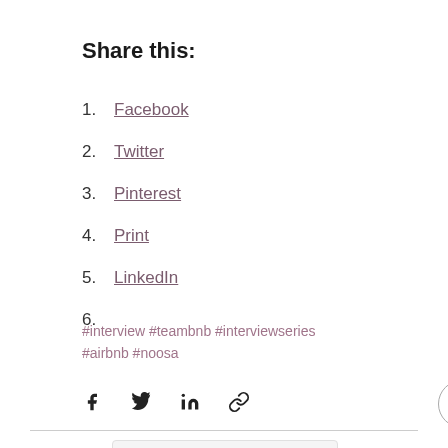Share this:
1. Facebook
2. Twitter
3. Pinterest
4. Print
5. LinkedIn
6.
#interview #teambnb #interviewseries #airbnb #noosa
[Figure (infographic): Social share icons: Facebook, Twitter, LinkedIn, link/chain icon, and an up-arrow button in a circle]
Chat